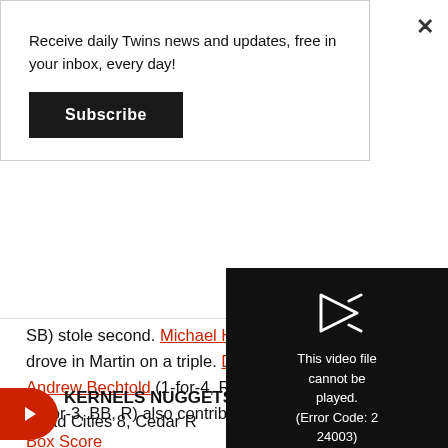Receive daily Twins news and updates, free in your inbox, every day!
Subscribe
SB) stole second. Michael Helman (1-for-3) also drove in Martin on a triple. Dennis Ortega (2-for-5), Andrew Bechtold (1-for-4, RBI) and DaShawn Keirsey (1-for-3, BB, R) also contributed h⊗.
KERNELS NUGGETS
Quad Cities 8, Cedar R...
Box Score
A strong start from B...
[Figure (screenshot): Video player error overlay with dark background showing play arrow icon and text: 'This video file cannot be played. (Error Code: 2 24003)']
home run game from Christian Encarnacion-Strand was not enough to propel the Kernels past the River Bandits...